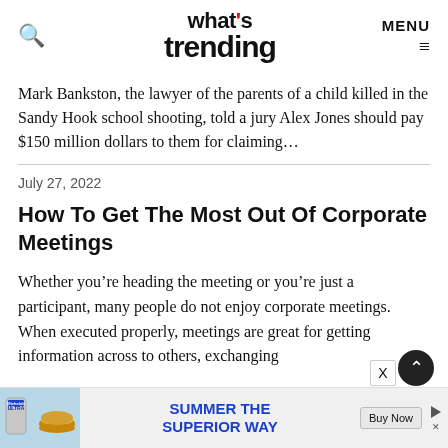what's trending — MENU
Mark Bankston, the lawyer of the parents of a child killed in the Sandy Hook school shooting, told a jury Alex Jones should pay $150 million dollars to them for claiming…
July 27, 2022
How To Get The Most Out Of Corporate Meetings
Whether you're heading the meeting or you're just a participant, many people do not enjoy corporate meetings. When executed properly, meetings are great for getting information across to others, exchanging
[Figure (other): Advertisement banner at bottom: Michelob Ultra beer can and burger image with text 'SUMMER THE SUPERIOR WAY' and 'Buy Now' button]